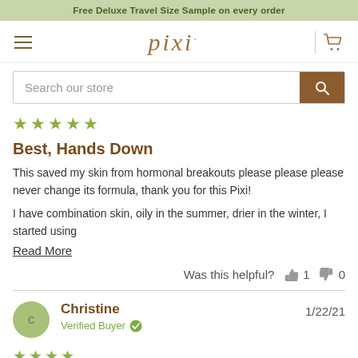Free Deluxe Travel Size Sample on every order
[Figure (screenshot): Pixi website navigation bar with hamburger menu, Pixi logo, divider, and shopping cart icon]
[Figure (screenshot): Search bar with 'Search our store' placeholder and brown search button]
[Figure (illustration): Five green star rating icons]
Best, Hands Down
This saved my skin from hormonal breakouts please please please never change its formula, thank you for this Pixi!
I have combination skin, oily in the summer, drier in the winter, I started using
Read More
Was this helpful?  👍 1  👎 0
Christine  1/22/21  Verified Buyer